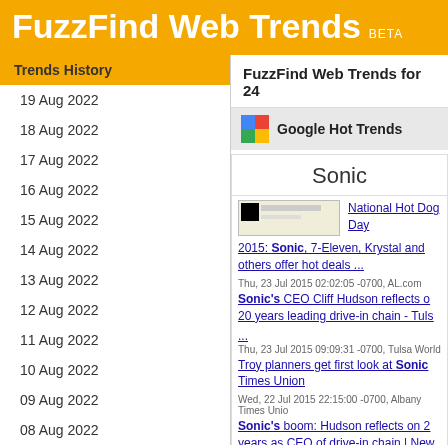FuzzFind Web Trends BETA
Trends History
19 Aug 2022
18 Aug 2022
17 Aug 2022
16 Aug 2022
15 Aug 2022
14 Aug 2022
13 Aug 2022
12 Aug 2022
11 Aug 2022
10 Aug 2022
09 Aug 2022
08 Aug 2022
07 Aug 2022
FuzzFind Web Trends for 24
Google Hot Trends
Sonic
National Hot Dog Day
2015: Sonic, 7-Eleven, Krystal and others offer hot deals ...
Thu, 23 Jul 2015 02:02:05 -0700, AL.com
Sonic's CEO Cliff Hudson reflects on 20 years leading drive-in chain - Tuls ...
Thu, 23 Jul 2015 09:09:31 -0700, Tulsa World
Troy planners get first look at Sonic Times Union
Wed, 22 Jul 2015 22:15:00 -0700, Albany Times Union
Sonic's boom: Hudson reflects on 20 years as CEO of drive-in chain | New OK